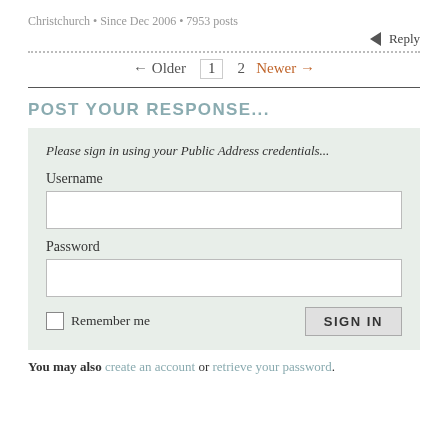Christchurch • Since Dec 2006 • 7953 posts
← Reply
← Older  1  2  Newer →
POST YOUR RESPONSE...
Please sign in using your Public Address credentials...
Username
Password
Remember me  SIGN IN
You may also create an account or retrieve your password.